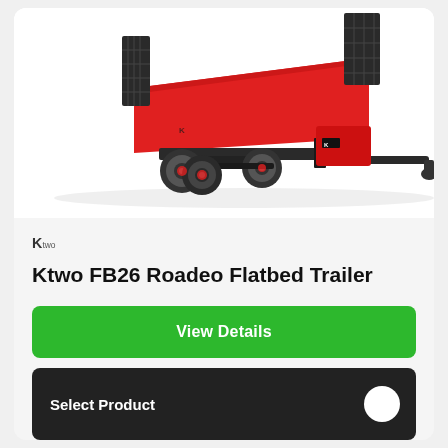[Figure (photo): Red Ktwo FB26 Roadeo Flatbed Trailer with black metal frame, dual axle wheels, and a long metal tow bar extending to the right. Black grid-style headboards at front and rear.]
[Figure (logo): Ktwo brand logo — stylized K with 'two' text in small letters]
Ktwo FB26 Roadeo Flatbed Trailer
View Details
Select Product